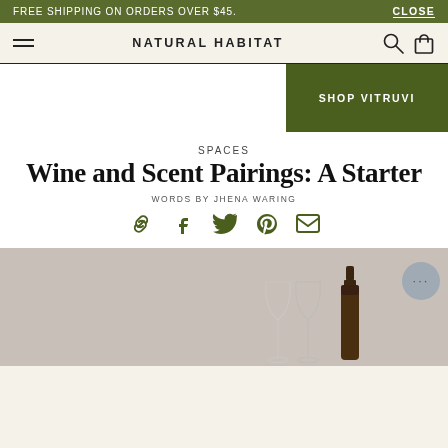FREE SHIPPING ON ORDERS OVER $45.
CLOSE
NATURAL HABITAT
SHOP VITRUVI
SPACES
Wine and Scent Pairings: A Starter
WORDS BY JHENA WARING
[Figure (photo): Photo of wine glasses and a dark wine bottle on a light gray background]